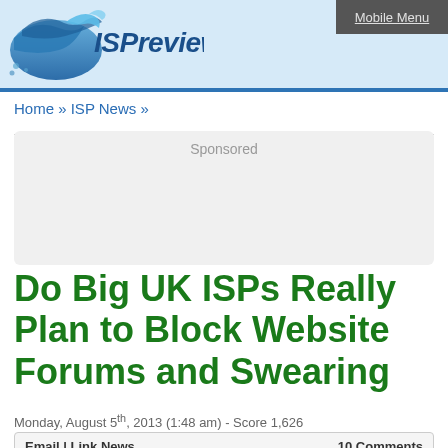[Figure (logo): ISPreview website logo with blue wave graphic and ISPreview text in italic blue font on light blue header background]
Mobile Menu
Home » ISP News »
Sponsored
Do Big UK ISPs Really Plan to Block Website Forums and Swearing
Monday, August 5th, 2013 (1:48 am) - Score 1,626
Email | Link News    10 Comments